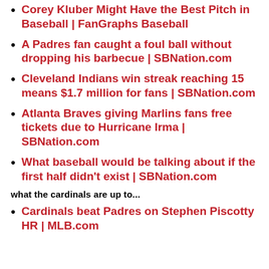Corey Kluber Might Have the Best Pitch in Baseball | FanGraphs Baseball
A Padres fan caught a foul ball without dropping his barbecue | SBNation.com
Cleveland Indians win streak reaching 15 means $1.7 million for fans | SBNation.com
Atlanta Braves giving Marlins fans free tickets due to Hurricane Irma | SBNation.com
What baseball would be talking about if the first half didn't exist | SBNation.com
what the cardinals are up to...
Cardinals beat Padres on Stephen Piscotty HR | MLB.com